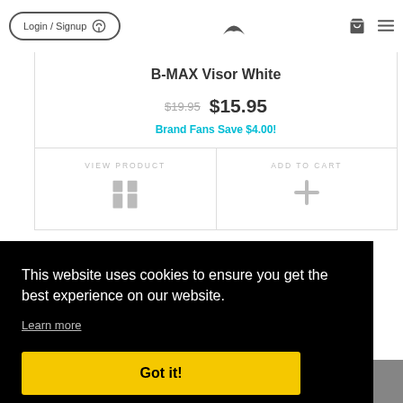Login / Signup  [logo]  [cart] [menu]
B-MAX Visor White
$19.95  $15.95  Brand Fans Save $4.00!
VIEW PRODUCT   ADD TO CART
This website uses cookies to ensure you get the best experience on our website.
Learn more
Got it!